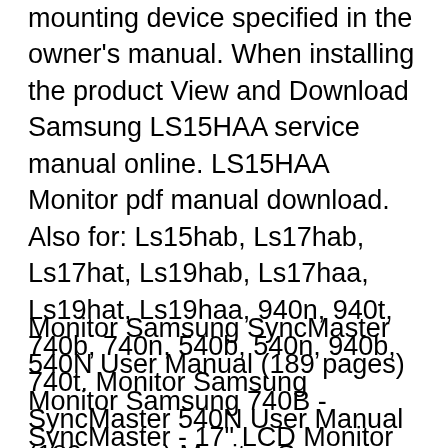mounting device specified in the owner's manual. When installing the product View and Download Samsung LS15HAA service manual online. LS15HAA Monitor pdf manual download. Also for: Ls15hab, Ls17hab, Ls17hat, Ls19hab, Ls17haa, Ls19hat, Ls19haa, 940n, 940t, 740b, 740n, 540b, 540n, 940b, 740t. Monitor Samsung SyncMaster 540N User Manual (189 pages) Monitor Samsung 740B - SyncMaster - 17" LCD Monitor Manual Del Usuario.
Monitor Samsung SyncMaster 540N User Manual (189 pages) Monitor Samsung 740B - SyncMaster - 17" LCD Monitor Manual Del Usuario. Suwon